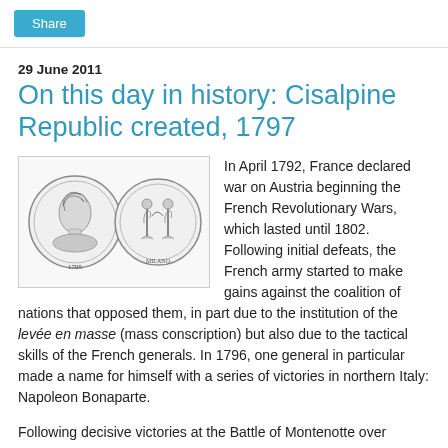Share
29 June 2011
On this day in history: Cisalpine Republic created, 1797
[Figure (illustration): Two sides of a coin from 1797 related to the Cisalpine Republic — left side shows a profile portrait, right side shows allegorical figures]
In April 1792, France declared war on Austria beginning the French Revolutionary Wars, which lasted until 1802. Following initial defeats, the French army started to make gains against the coalition of nations that opposed them, in part due to the institution of the levée en masse (mass conscription) but also due to the tactical skills of the French generals. In 1796, one general in particular made a name for himself with a series of victories in northern Italy: Napoleon Bonaparte.

Following decisive victories at the Battle of Montenotte over